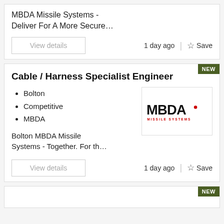MBDA Missile Systems - Deliver For A More Secure…
View details
1 day ago
Save
Cable / Harness Specialist Engineer
Bolton
Competitive
MBDA
[Figure (logo): MBDA Missile Systems logo — bold black MBDA lettering with red dot, MISSILE SYSTEMS text below in red]
Bolton MBDA Missile Systems - Together. For th…
View details
1 day ago
Save